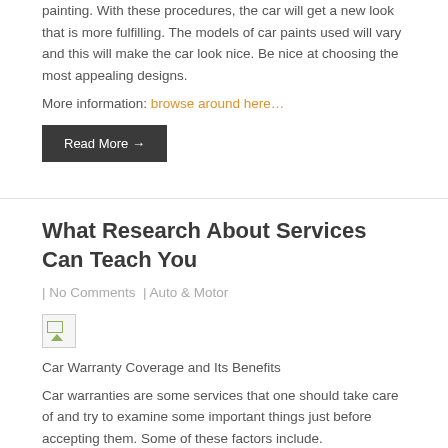painting. With these procedures, the car will get a new look that is more fulfilling. The models of car paints used will vary and this will make the car look nice. Be nice at choosing the most appealing designs.
More information: browse around here…
Read More →
What Research About Services Can Teach You
| No Comments | Auto & Motor
[Figure (photo): Broken/placeholder image thumbnail]
Car Warranty Coverage and Its Benefits
Car warranties are some services that one should take care of and try to examine some important things just before accepting them. Some of these factors include.